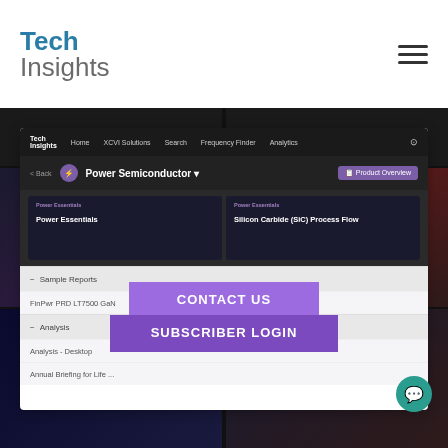[Figure (screenshot): TechInsights website screenshot showing a Power Semiconductor product page with navigation, feature cards for Power Essentials and Silicon Carbide (SiC) Process Flow, Sample Reports and Analysis sections, overlaid on background tiles showing Component Price Landscape, Memory - NAND & DRAM, Mobile categories, with Contact Us and Subscriber Login CTAs, and a teal chat bubble.]
CONTACT US
SUBSCRIBER LOGIN